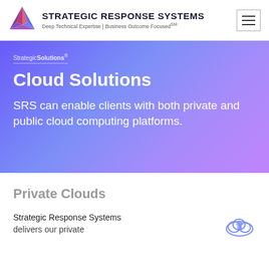STRATEGIC RESPONSE SYSTEMS
Deep Technical Expertise | Business Outcome Focused℠
[Figure (logo): Strategic Response Systems triangular logo with purple/pink/blue facets]
StrategicSolutions®
Cloud Solutions
SRS can enable clients with both private and public cloud computing platforms.
Private Clouds
Strategic Response Systems delivers our private
[Figure (illustration): Cloud icon outline with home/building symbol inside, bottom right corner]